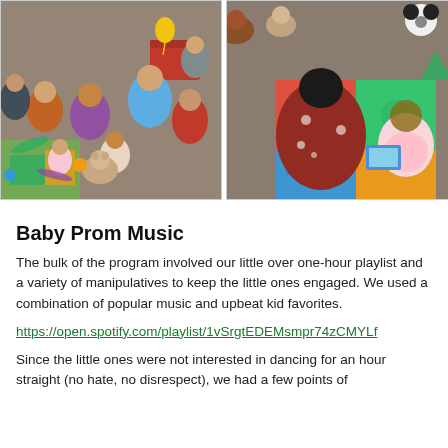[Figure (photo): Left photo: Group of adults and toddlers sitting in a circle on carpet in a library/classroom setting with colorful foam mats, toys, and balloons scattered around. A person in a blue shirt sits facing the group.]
[Figure (photo): Right photo: Close-up of an adult in a dark red floral dress sitting on carpet with a young toddler on colorful interlocking foam mats. Stuffed animals visible in background.]
Baby Prom Music
The bulk of the program involved our little over one-hour playlist and a variety of manipulatives to keep the little ones engaged. We used a combination of popular music and upbeat kid favorites.
https://open.spotify.com/playlist/1vSrgtEDEMsmpr74zCMYLf
Since the little ones were not interested in dancing for an hour straight (no hate, no disrespect), we had a few points of...